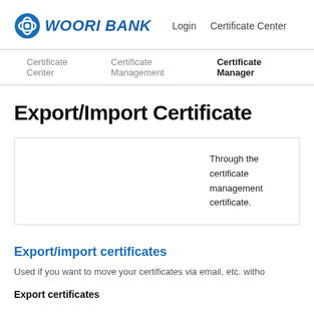WOORI BANK  Login  Certificate Center
Certificate Center  Certificate Management  Certificate Manager
Export/Import Certificate
Through the certificate management certificate.
Export/import certificates
Used if you want to move your certificates via email, etc. witho
Export certificates